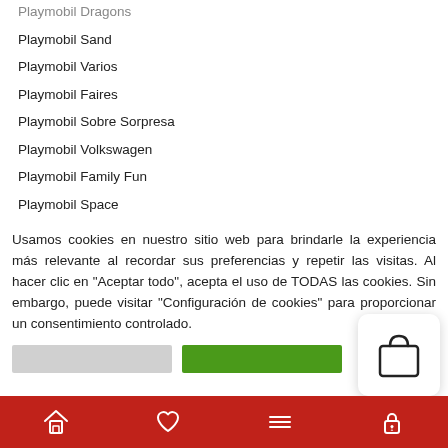Playmobil Dragons
Playmobil Sand
Playmobil Varios
Playmobil Faires
Playmobil Sobre Sorpresa
Playmobil Volkswagen
Playmobil Family Fun
Playmobil Space
Playmobil Western
Playmobil Gostbusters
Playmobil Special Plus - Duos - Playmo-Friends
Playmobil Wild Life
Usamos cookies en nuestro sitio web para brindarle la experiencia más relevante al recordar sus preferencias y repetir las visitas. Al hacer clic en "Aceptar todo", acepta el uso de TODAS las cookies. Sin embargo, puede visitar "Configuración de cookies" para proporcionar un consentimiento controlado.
[Figure (other): Shopping bag icon in white rounded popup card]
Bottom navigation bar with home, heart, menu, and lock icons on red background